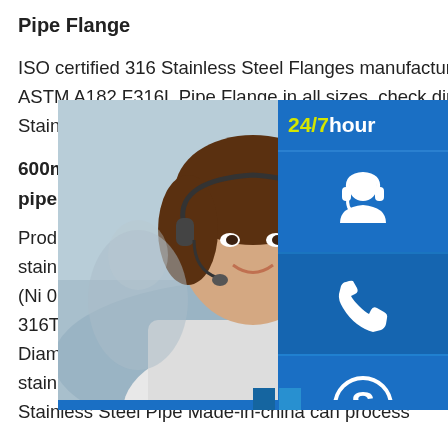Pipe Flange
ISO certified 316 Stainless Steel Flanges manufacturers in India, supplier of ASTM A182 F316L Pipe Flange in all sizes. check dimensions of ANSI B16.5 Stainless Steel Hollow Bar Tubing Sup…
600mm stainless steel pipe, 600mm pipe astm a316 stainless steel pipe
Product name ASTM AISI standard 200 diameter 100mm 300mm 600mm stainless steel pipe price per meter Standards ASTM / ASME JIS,T14975, etc Steel Grade 200 (Ni 0… , 201H (Ni 5%) , 301 (Ni :6%), 303, TP… 321 ,TP321, 316, TP316L, 316L, 316Ti, 317, 317L, 309S, 310S(2520), 347, Duplex 2205, Duplex 2207,etc Out Diameter 6 80mm stainless steel pipe, 80mm stainless steel pipe astm a316 stainless steel pipe manufacturerTags Astm A316 Stainless Steel Pipe 310 Stainless Steel Pipe Made-in-china can process
[Figure (screenshot): Customer service chat widget with 24/7 hour banner, headset icon, phone icon, Skype icon, and Click to chat bar, overlapping a photo of a smiling customer service representative]